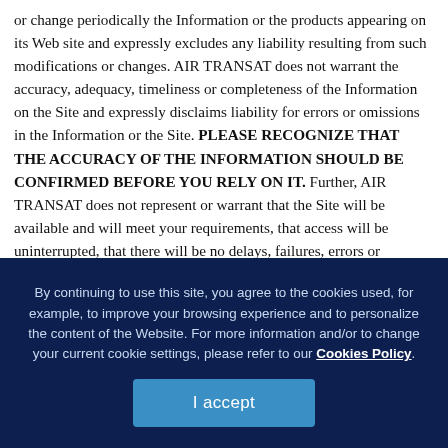or change periodically the Information or the products appearing on its Web site and expressly excludes any liability resulting from such modifications or changes. AIR TRANSAT does not warrant the accuracy, adequacy, timeliness or completeness of the Information on the Site and expressly disclaims liability for errors or omissions in the Information or the Site. PLEASE RECOGNIZE THAT THE ACCURACY OF THE INFORMATION SHOULD BE CONFIRMED BEFORE YOU RELY ON IT. Further, AIR TRANSAT does not represent or warrant that the Site will be available and will meet your requirements, that access will be uninterrupted, that there will be no delays, failures, errors or omissions or loss of transmitted information, that no viruses or other contaminating or
By continuing to use this site, you agree to the cookies used, for example, to improve your browsing experience and to personalize the content of the Website. For more information and/or to change your current cookie settings, please refer to our Cookies Policy.
I accept